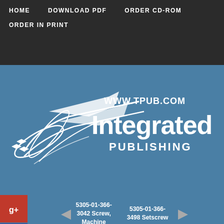HOME   DOWNLOAD PDF   ORDER CD-ROM   ORDER IN PRINT
[Figure (logo): Integrated Publishing logo with bird/arrow graphic and text 'WWW.TPUB.COM Integrated PUBLISHING' on blue background]
5305-01-366-3042 Screw, Machine
5305-01-366-3498 Setscrew
5305 Screws - 769
Page Navigation
135 136 137 138 139 140 141 142 143 144 145